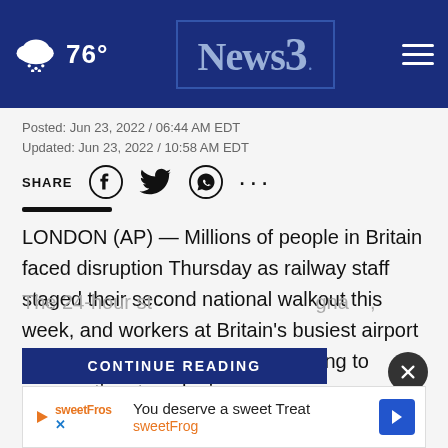76° News3. [hamburger menu]
Posted: Jun 23, 2022 / 06:44 AM EDT
Updated: Jun 23, 2022 / 10:58 AM EDT
SHARE [social icons: Facebook, Twitter, WhatsApp, more]
LONDON (AP) — Millions of people in Britain faced disruption Thursday as railway staff staged their second national walkout this week, and workers at Britain's busiest airport announced plans to walk out, adding to summertime travel misery.
The 24-hour st[rike was...] gna[...],
CONTINUE READING
You deserve a sweet Treat
sweetFrog